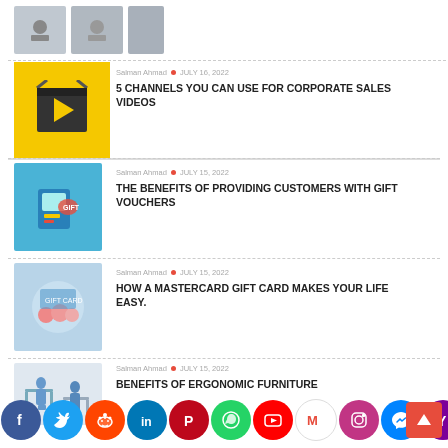[Figure (photo): Top strip with small thumbnail images partially visible at top of page]
Salman Ahmad • JULY 16, 2022
5 CHANNELS YOU CAN USE FOR CORPORATE SALES VIDEOS
[Figure (photo): Yellow background with movie clapperboard thumbnail]
Salman Ahmad • JULY 15, 2022
THE BENEFITS OF PROVIDING CUSTOMERS WITH GIFT VOUCHERS
[Figure (photo): Blue background with hand holding gift card smartphone thumbnail]
Salman Ahmad • JULY 15, 2022
HOW A MASTERCARD GIFT CARD MAKES YOUR LIFE EASY.
[Figure (photo): Tech/data background thumbnail]
Salman Ahmad • JULY 15, 2022
BENEFITS OF ERGONOMIC FURNITURE
[Figure (photo): Ergonomic furniture illustration thumbnail]
[Figure (infographic): Social media sharing bar with Facebook, Twitter, Reddit, LinkedIn, Pinterest, WhatsApp, YouTube, Gmail, Instagram, Messenger, and another icon]